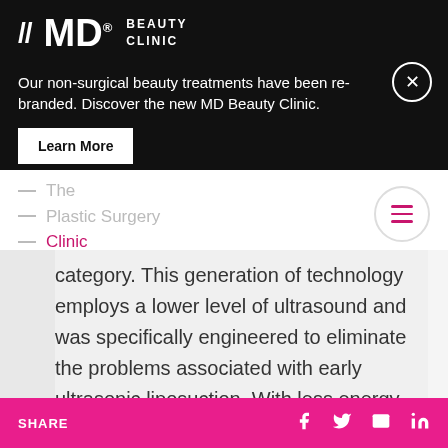[Figure (logo): //MD. BEAUTY CLINIC logo on black banner with tagline and Learn More button]
Our non-surgical beauty treatments have been re-branded. Discover the new MD Beauty Clinic.
Learn More
[Figure (logo): The Plastic Surgery Clinic navigation logo with hamburger menu]
category. This generation of technology employs a lower level of ultrasound and was specifically engineered to eliminate the problems associated with early ultrasonic liposuction. With less energy, smaller cannulas, and better distribution of energy at the cannula tip, we are able to achieve
SHARE  f  t  envelope  in